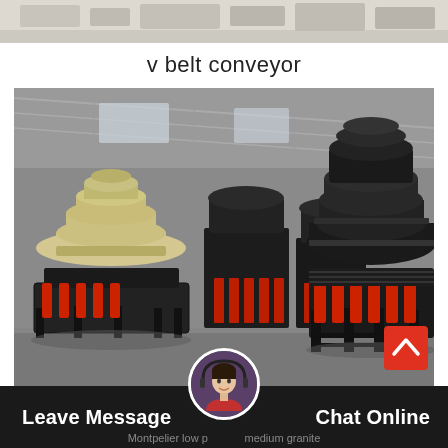[Figure (photo): Partial top strip image, light beige/cream background, partial view of machinery]
v belt conveyor
[Figure (photo): Industrial warehouse interior showing multiple cone crushers on stands. One beige/cream cone crusher on the left and a large black cone crusher on the right with red hydraulic cylinders. Several other black crushers visible in the background. Concrete floor, metal roof structure.]
Leave Message
Chat Online
Montpelier low p medium granite